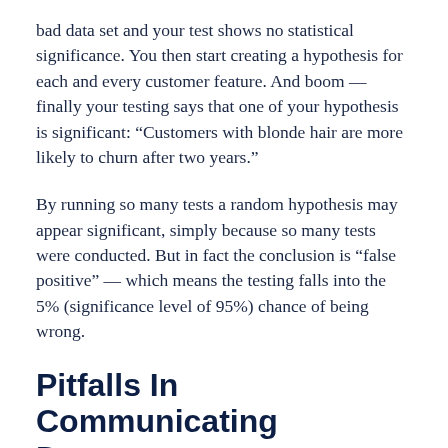bad data set and your test shows no statistical significance. You then start creating a hypothesis for each and every customer feature. And boom — finally your testing says that one of your hypothesis is significant: “Customers with blonde hair are more likely to churn after two years.”
By running so many tests a random hypothesis may appear significant, simply because so many tests were conducted. But in fact the conclusion is “false positive” — which means the testing falls into the 5% (significance level of 95%) chance of being wrong.
Pitfalls In Communicating Data